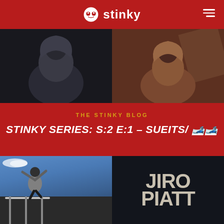stinky
[Figure (photo): Split photo of two figures in hoodies, dark tones]
THE STINKY BLOG
STINKY SERIES: S:2 E:1 – SUEITS/ 🎿🎿
[Figure (photo): Left: skateboarder jumping over a rail outside; Right: dark background with large text JIRO PIATT]